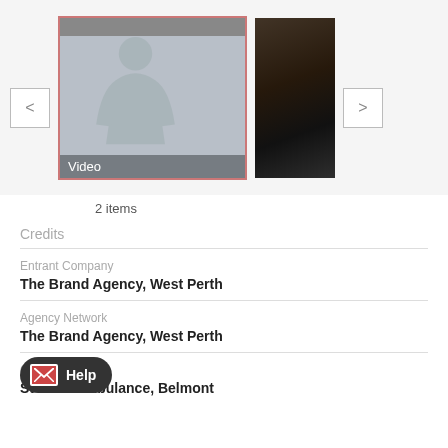[Figure (screenshot): Media carousel showing two thumbnails: a video thumbnail with a silhouette on gray background labeled 'Video' with a pink/red border, and a dark second thumbnail. Navigation arrows on left and right.]
2 items
Credits
Entrant Company
The Brand Agency, West Perth
Agency Network
The Brand Agency, West Perth
Client
St John Ambulance, Belmont